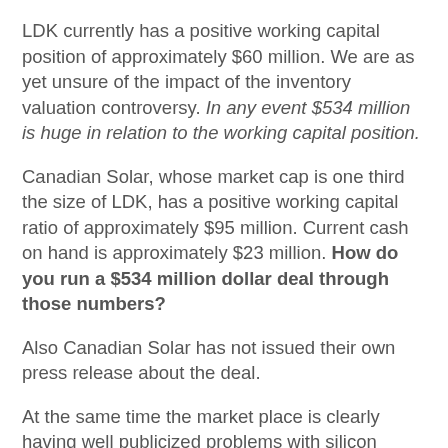LDK currently has a positive working capital position of approximately $60 million. We are as yet unsure of the impact of the inventory valuation controversy. In any event $534 million is huge in relation to the working capital position.
Canadian Solar, whose market cap is one third the size of LDK, has a positive working capital ratio of approximately $95 million. Current cash on hand is approximately $23 million. How do you run a $534 million dollar deal through those numbers?
Also Canadian Solar has not issued their own press release about the deal.
At the same time the market place is clearly having well publicized problems with silicon supply.
LDK and associated entities need to communicate more clearly and connect all the dots or else face a huge credibility problem. Class action lawsuits have already been filed. This